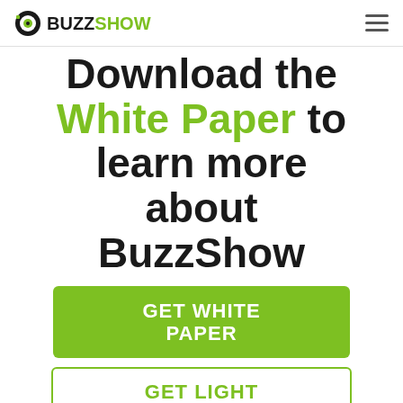BUZZSHOW logo and navigation menu
Download the White Paper to learn more about BuzzShow
GET WHITE PAPER
GET LIGHT PAPER